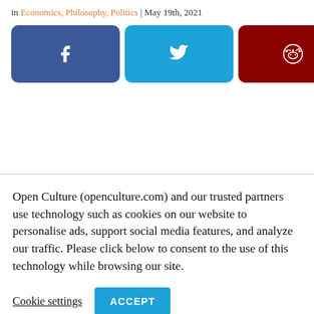in Economics, Philosophy, Politics | May 19th, 2021
[Figure (other): Social share buttons: Facebook (blue), Twitter (cyan), Reddit (dark red), More (gray plus)]
Open Culture (openculture.com) and our trusted partners use technology such as cookies on our website to personalise ads, support social media features, and analyze our traffic. Please click below to consent to the use of this technology while browsing our site.
Cookie settings   ACCEPT